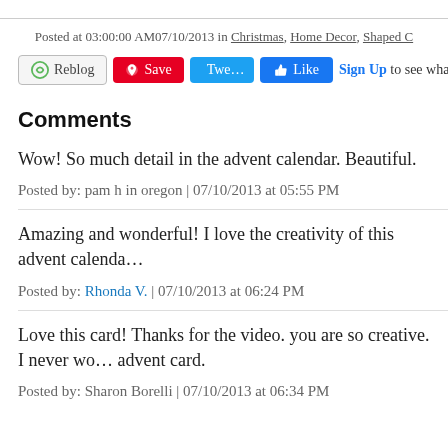Posted at 03:00:00 AM07/10/2013 in Christmas, Home Decor, Shaped C…
[Figure (other): Social sharing buttons: Reblog, Save (Pinterest), Tweet (Twitter), Like (Facebook), Sign Up prompt]
Comments
Wow! So much detail in the advent calendar. Beautiful.
Posted by: pam h in oregon | 07/10/2013 at 05:55 PM
Amazing and wonderful! I love the creativity of this advent calendar…
Posted by: Rhonda V. | 07/10/2013 at 06:24 PM
Love this card! Thanks for the video. you are so creative. I never wo… advent card.
Posted by: Sharon Borelli | 07/10/2013 at 06:34 PM